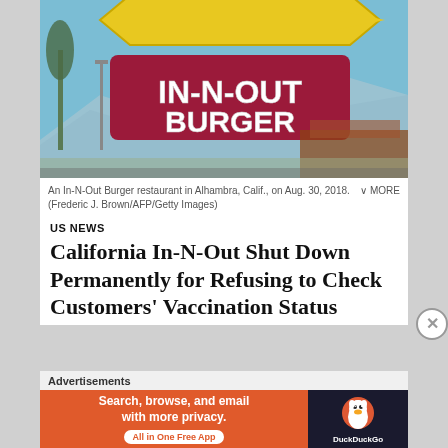[Figure (photo): In-N-Out Burger restaurant sign against blue sky with mountains in background. Large yellow arrow-shaped sign with red rectangular panel reading IN-N-OUT BURGER in bold white letters.]
An In-N-Out Burger restaurant in Alhambra, Calif., on Aug. 30, 2018. (Frederic J. Brown/AFP/Getty Images)
US NEWS
California In-N-Out Shut Down Permanently for Refusing to Check Customers' Vaccination Status
Advertisements
[Figure (screenshot): DuckDuckGo advertisement banner. Orange background on left with text: Search, browse, and email with more privacy. All in One Free App. Dark right panel with DuckDuckGo duck logo.]